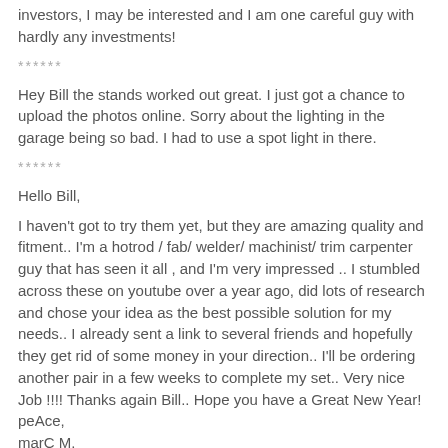investors, I may be interested and I am one careful guy with hardly any investments!
******
Hey Bill the stands worked out great. I just got a chance to upload the photos online. Sorry about the lighting in the garage being so bad. I had to use a spot light in there.
******
Hello Bill,
I haven't got to try them yet, but they are amazing quality and fitment.. I'm a hotrod / fab/ welder/ machinist/ trim carpenter guy that has seen it all , and I'm very impressed .. I stumbled across these on youtube over a year ago, did lots of research and chose your idea as the best possible solution for my needs.. I already sent a link to several friends and hopefully they get rid of some money in your direction.. I'll be ordering another pair in a few weeks to complete my set.. Very nice Job !!!! Thanks again Bill.. Hope you have a Great New Year!
peAce,
marC M.
******